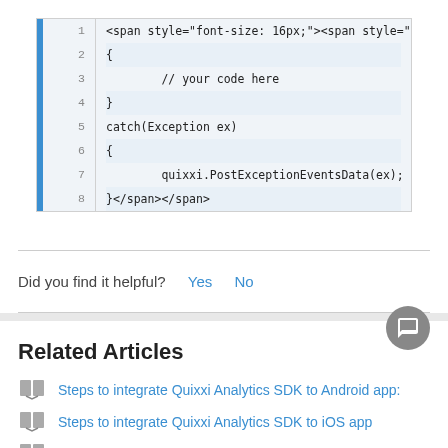[Figure (screenshot): Code block with 8 lines showing HTML span tags and Java/C# exception handling code with line numbers and blue left bar]
Did you find it helpful?  Yes  No
Related Articles
Steps to integrate Quixxi Analytics SDK to Android app:
Steps to integrate Quixxi Analytics SDK to iOS app